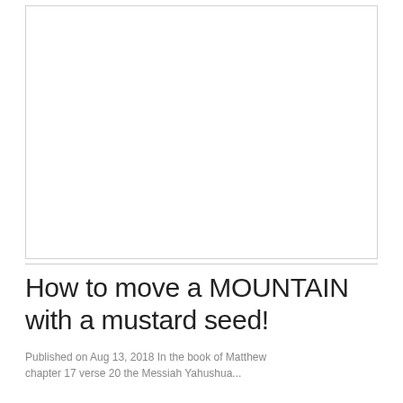[Figure (other): Large white image placeholder area with light border]
How to move a MOUNTAIN with a mustard seed!
Published on Aug 13, 2018 In the book of Matthew chapter 17 verse 20 the Messiah Yahushua...